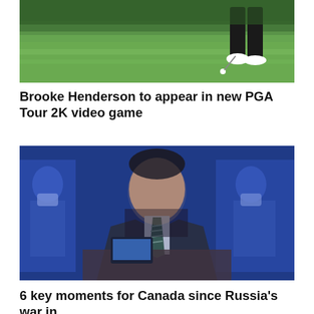[Figure (photo): A golfer on a green golf course fairway, visible from the waist down, wearing dark pants and white shoes, about to hit a golf ball on lush green grass.]
Brooke Henderson to appear in new PGA Tour 2K video game
[Figure (photo): A composite image showing a man in a dark suit and striped tie sitting at a desk, appearing to be on a video call, overlaid with blue-tinted images of people in suits wearing face masks, likely Zelensky addressing parliament.]
6 key moments for Canada since Russia's war in